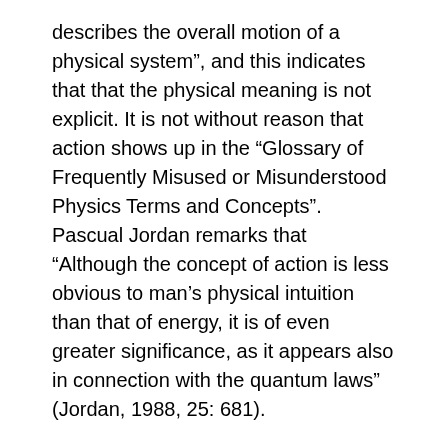describes the overall motion of a physical system”, and this indicates that that the physical meaning is not explicit. It is not without reason that action shows up in the “Glossary of Frequently Misused or Misunderstood Physics Terms and Concepts”. Pascual Jordan remarks that “Although the concept of action is less obvious to man’s physical intuition than that of energy, it is of even greater significance, as it appears also in connection with the quantum laws” (Jordan, 1988, 25: 681).
Yourgrau and Mandelstam also acknowledge that “With the development of the older form of quantum theory the persuasion that the action had some deeper meaning gained renewed impetus” (ibid., p. 128). Nevertheless, their result seems to point towards only a mathematical